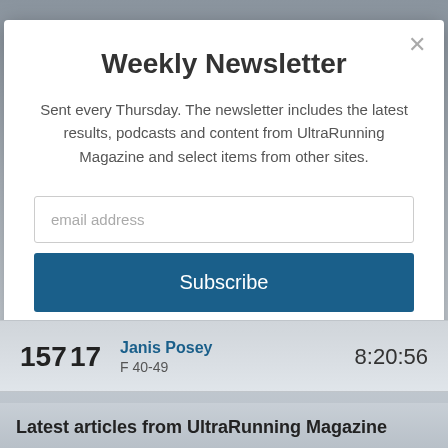Weekly Newsletter
Sent every Thursday. The newsletter includes the latest results, podcasts and content from UltraRunning Magazine and select items from other sites.
email address
Subscribe
157   17   Janis Posey   F 40-49   8:20:56
Latest articles from UltraRunning Magazine